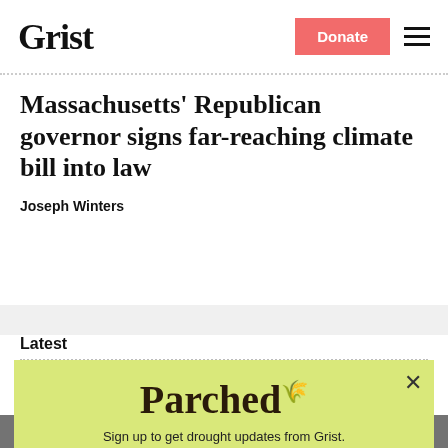Grist
Massachusetts' Republican governor signs far-reaching climate bill into law
Joseph Winters
Latest
[Figure (photo): Aerial photo of dense green forest canopy]
[Figure (infographic): Parched newsletter signup modal with yellow-green background, Parched logo, email input field, Sign Up button, and No thanks link]